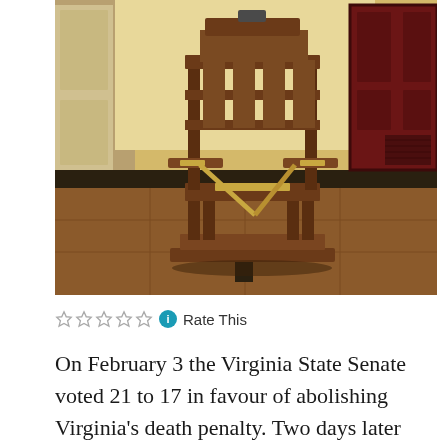[Figure (photo): An electric chair with wooden construction and leather straps, mounted on a wooden platform, photographed in a room with beige walls and a dark red door, under warm lighting on a tiled floor.]
Rate This
On February 3 the Virginia State Senate voted 21 to 17 in favour of abolishing Virginia's death penalty. Two days later